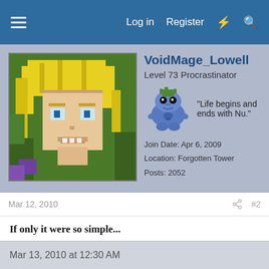Log in  Register
VoidMage_Lowell
Level 73 Procrastinator
"Life begins and ends with Nu."
Join Date: Apr 6, 2009
Location: Forgotten Tower
Posts: 2052
Mar 12, 2010  #2
If only it were so simple...
I don't know if that's ArmorGames specifically {Norton says it's a good, clean site}, I think pop-ups/ads are just getting fiercer... That's not the only place to have that happen, I get crap like that all the time on MediaFire, just by trying to download a file...
Mar 13, 2010 at 12:30 AM